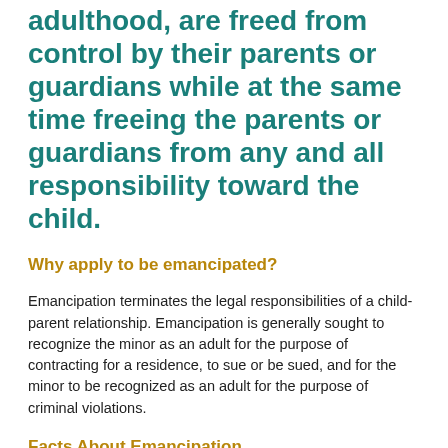adulthood, are freed from control by their parents or guardians while at the same time freeing the parents or guardians from any and all responsibility toward the child.
Why apply to be emancipated?
Emancipation terminates the legal responsibilities of a child-parent relationship. Emancipation is generally sought to recognize the minor as an adult for the purpose of contracting for a residence, to sue or be sued, and for the minor to be recognized as an adult for the purpose of criminal violations.
Facts About Emancipation
Applicant must be 16 years or older
The court in order to emancipate must find that the best interests of the minor will be served.  In making this decision the court will take into consideration: